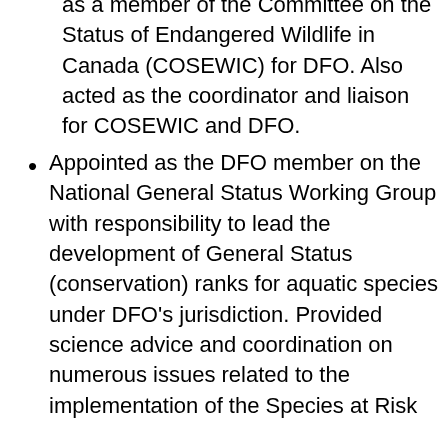as a member of the Committee on the Status of Endangered Wildlife in Canada (COSEWIC) for DFO. Also acted as the coordinator and liaison for COSEWIC and DFO.
Appointed as the DFO member on the National General Status Working Group with responsibility to lead the development of General Status (conservation) ranks for aquatic species under DFO’s jurisdiction. Provided science advice and coordination on numerous issues related to the implementation of the Species at Risk